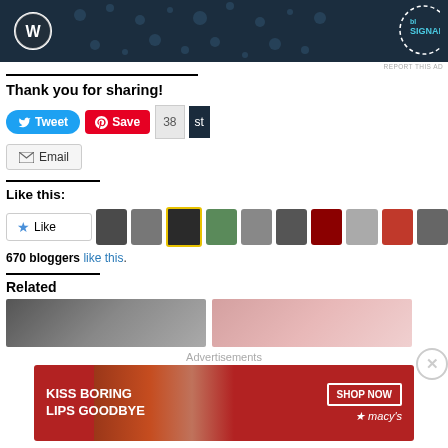[Figure (screenshot): Top banner ad with WordPress logo and Signal logo on dark navy background]
REPORT THIS AD
Thank you for sharing!
[Figure (screenshot): Social sharing buttons: Tweet (blue), Save (red Pinterest), 38 count, st button, Email button]
Like this:
[Figure (screenshot): Like button with star icon and row of 10 blogger avatar thumbnails]
670 bloggers like this.
Related
[Figure (screenshot): Two related article thumbnail images partially visible]
Advertisements
[Figure (screenshot): Macy's advertisement banner: KISS BORING LIPS GOODBYE with SHOP NOW button and Macy's logo]